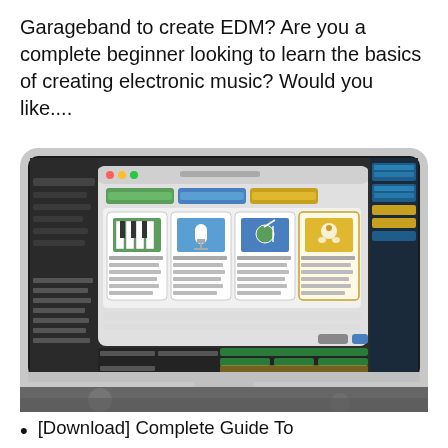Garageband to create EDM? Are you a complete beginner looking to learn the basics of creating electronic music? Would you like....
[Figure (screenshot): Screenshot of GarageBand software displayed on a Mac desktop computer, showing the track editor interface with a 'Choose a Track Type' dialog open, with green, blue, and yellow track regions visible.]
[Download] Complete Guide To